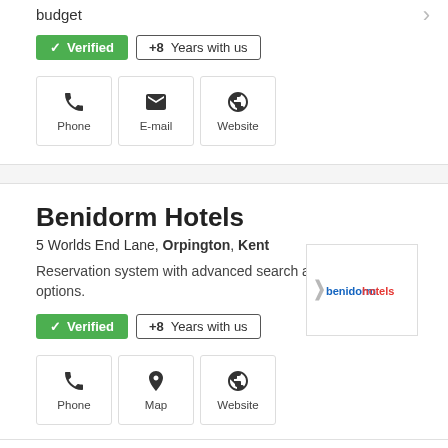budget
✓ Verified   +8  Years with us
[Figure (infographic): Contact buttons: Phone, E-mail, Website icons in bordered boxes]
Benidorm Hotels
5 Worlds End Lane, Orpington, Kent
Reservation system with advanced search and filter options.
✓ Verified   +8  Years with us
[Figure (logo): Benidorm Hotels logo — stylized text 'benidormhotels' in blue and red with a chevron/arrow icon]
[Figure (infographic): Contact buttons: Phone, Map, Website icons in bordered boxes]